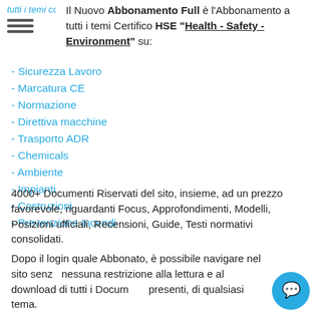tutti i temi con un click.
Il Nuovo Abbonamento Full è l'Abbonamento a tutti i temi Certifico HSE "Health - Safety - Environment" su:
- Sicurezza Lavoro
- Marcatura CE
- Normazione
- Direttiva macchine
- Trasporto ADR
- Chemicals
- Ambiente
- Impianti
- Costruzioni
- Prevenzione Incendi
4000+ Documenti Riservati del sito, insieme, ad un prezzo favorevole, riguardanti Focus, Approfondimenti, Modelli, Posizioni ufficiali, Recensioni, Guide, Testi normativi consolidati.
Dopo il login quale Abbonato, è possibile navigare nel sito senza nessuna restrizione alla lettura e al download di tutti i Documenti presenti, di qualsiasi tema.